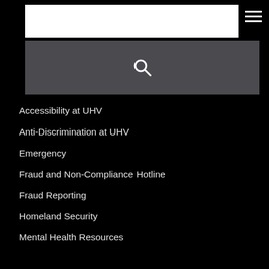[Figure (screenshot): Search input box (white rectangle) and hamburger menu icon in top navigation bar]
[Figure (screenshot): Dark gray search bar with magnifying glass icon]
Accessibility at UHV
Anti-Discrimination at UHV
Emergency
Fraud and Non-Compliance Hotline
Fraud Reporting
Homeland Security
Mental Health Resources
Military and Veteran Services
Sexual Misconduct Reporting and Awareness
Student Complaints